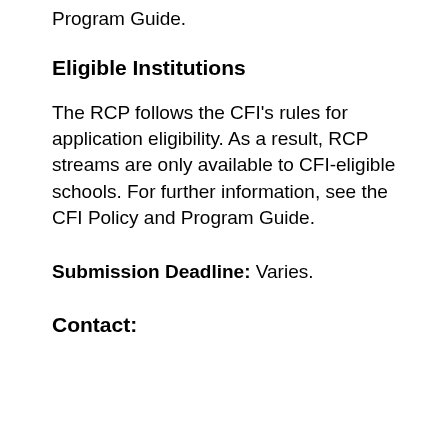Program Guide.
Eligible Institutions
The RCP follows the CFI’s rules for application eligibility. As a result, RCP streams are only available to CFI-eligible schools. For further information, see the CFI Policy and Program Guide.
Submission Deadline: Varies.
Contact: